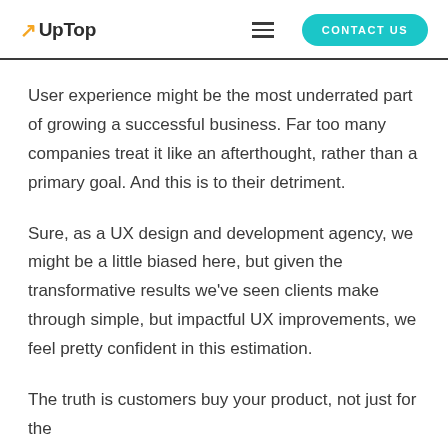UpTop | CONTACT US
User experience might be the most underrated part of growing a successful business. Far too many companies treat it like an afterthought, rather than a primary goal. And this is to their detriment.
Sure, as a UX design and development agency, we might be a little biased here, but given the transformative results we've seen clients make through simple, but impactful UX improvements, we feel pretty confident in this estimation.
The truth is customers buy your product, not just for the